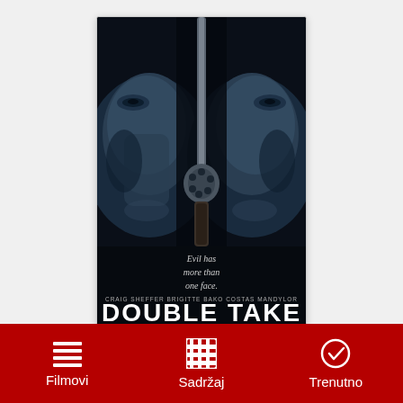[Figure (photo): Movie poster for 'Double Take' featuring two male faces close up on the left and right with a revolver gun in the center, blue-tinted black and white style. Text reads: 'Evil has more than one face.' Cast credits: CRAIG SHEFFER  BRIGITTE BAKO  COSTAS MANDYLOR. Large white bold title: DOUBLE TAKE]
[Figure (infographic): Red navigation bar at the bottom with three icons and labels: Filmovi (list icon), Sadrzaj (film reel icon), Trenutno (clock/check icon)]